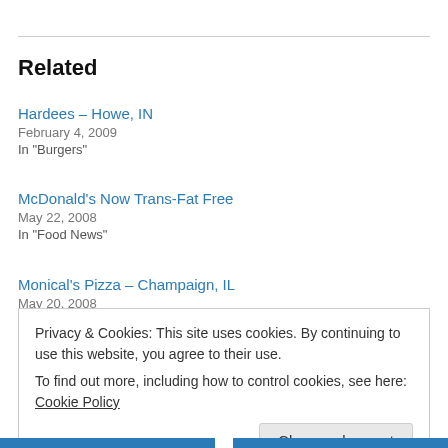Related
Hardees – Howe, IN
February 4, 2009
In "Burgers"
McDonald's Now Trans-Fat Free
May 22, 2008
In "Food News"
Monical's Pizza – Champaign, IL
May 20, 2008
Privacy & Cookies: This site uses cookies. By continuing to use this website, you agree to their use.
To find out more, including how to control cookies, see here: Cookie Policy